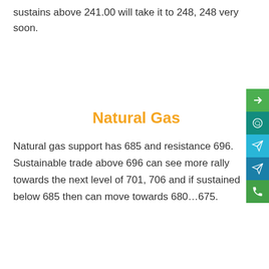sustains above 241.00 will take it to 248, 248 very soon.
Natural Gas
Natural gas support has 685 and resistance 696. Sustainable trade above 696 can see more rally towards the next level of 701, 706 and if sustained below 685 then can move towards 680…675.